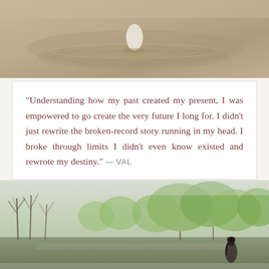[Figure (photo): Aerial or overhead view of a person in a white dress standing in shallow water or a wet sandy/earthy surface with ripple patterns, muted warm tones.]
“Understanding how my past created my present, I was empowered to go create the very future I long for. I didn’t just rewrite the broken-record story running in my head. I broke through limits I didn’t even know existed and rewrote my destiny.” — VAL
[Figure (photo): Outdoor nature scene with bare and leafy trees in the background, misty/overcast sky, and a woman with dark hair standing in the lower right area of the frame.]